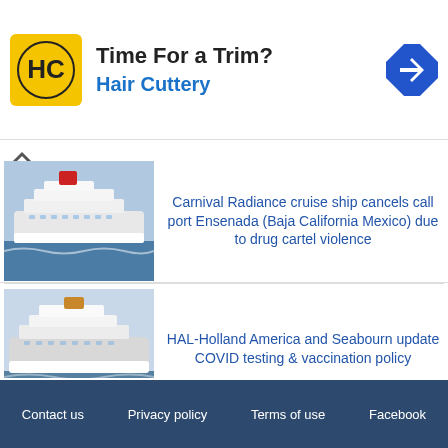[Figure (other): Hair Cuttery advertisement banner with logo and navigation icon]
Carnival Radiance cruise ship cancels call port Ensenada (Baja California Mexico) due to drug cartel violence
HAL-Holland America and Seabourn update COVID testing & vaccination policy
Virgin Voyages unveils $550 million in new capital raise
Contact us   Privacy policy   Terms of use   Facebook